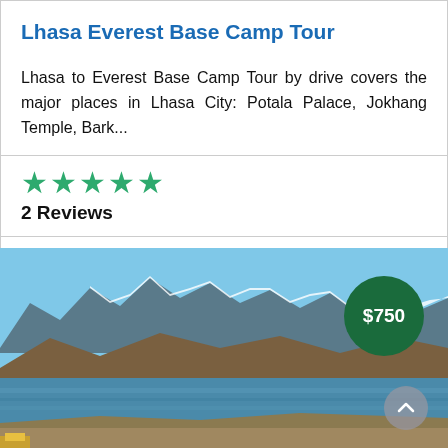Lhasa Everest Base Camp Tour
Lhasa to Everest Base Camp Tour by drive covers the major places in Lhasa City: Potala Palace, Jokhang Temple, Bark...
★★★★★ 2 Reviews
8 Days
[Figure (photo): Scenic lake with snow-capped mountains in background, likely Namtso Lake in Tibet, with a $750 price badge overlay]